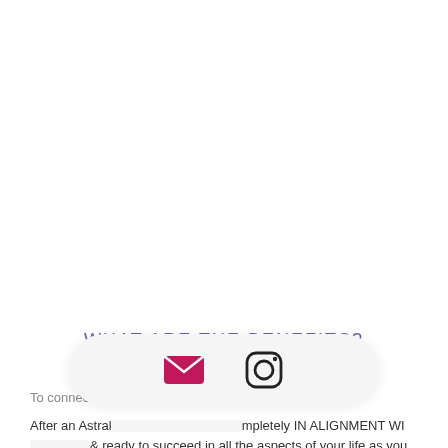WHAT ARE THE BENEFITS?
To connect with their souls
After an Astral ... completely IN ALIGNMENT WITH ... & ready to succeed in all the aspects of your life as you embody and
[Figure (other): Notification bar overlay showing email (pink envelope) and Instagram icons on a rounded light gray bar]